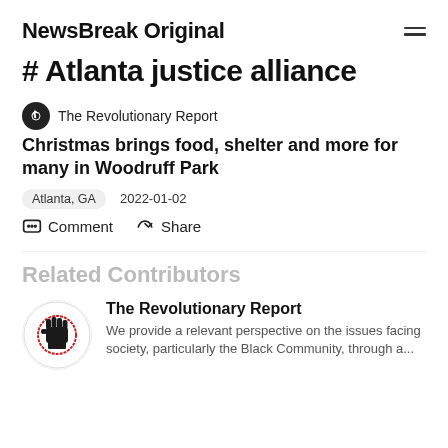NewsBreak Original
# Atlanta justice alliance
The Revolutionary Report
Christmas brings food, shelter and more for many in Woodruff Park
Atlanta, GA  2022-01-02
Comment  Share
Related Contributors
The Revolutionary Report
We provide a relevant perspective on the issues facing society, particularly the Black Community, through a...